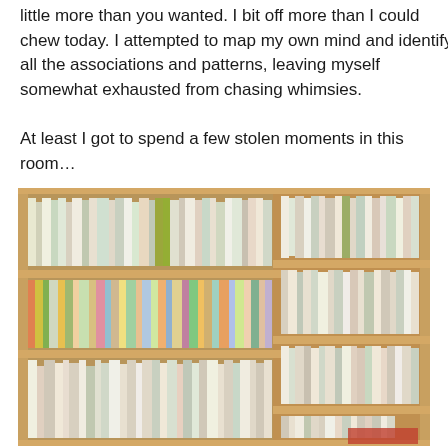little more than you wanted. I bit off more than I could chew today. I attempted to map my own mind and identify all the associations and patterns, leaving myself somewhat exhausted from chasing whimsies.

At least I got to spend a few stolen moments in this room…
[Figure (photo): A room with floor-to-ceiling wooden bookshelves densely packed with books of various colors and sizes, forming a corner library.]